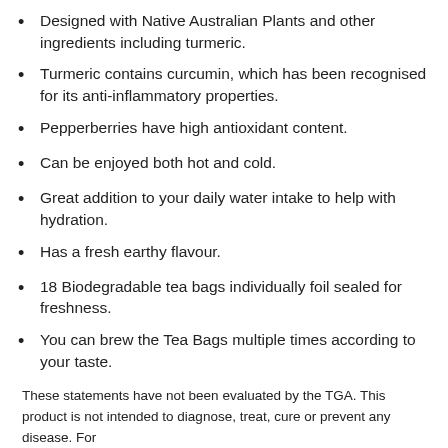Designed with Native Australian Plants and other ingredients including turmeric.
Turmeric contains curcumin, which has been recognised for its anti-inflammatory properties.
Pepperberries have high antioxidant content.
Can be enjoyed both hot and cold.
Great addition to your daily water intake to help with hydration.
Has a fresh earthy flavour.
18 Biodegradable tea bags individually foil sealed for freshness.
You can brew the Tea Bags multiple times according to your taste.
These statements have not been evaluated by the TGA. This product is not intended to diagnose, treat, cure or prevent any disease. For